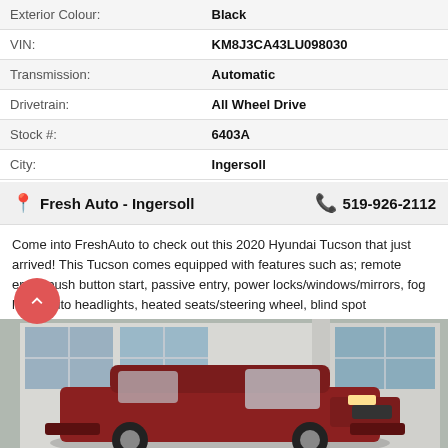| Field | Value |
| --- | --- |
| Exterior Colour: | Black |
| VIN: | KM8J3CA43LU098030 |
| Transmission: | Automatic |
| Drivetrain: | All Wheel Drive |
| Stock #: | 6403A |
| City: | Ingersoll |
Fresh Auto - Ingersoll   519-926-2112
Come into FreshAuto to check out this 2020 Hyundai Tucson that just arrived! This Tucson comes equipped with features such as; remote entry, push button start, passive entry, power locks/windows/mirrors, fog lights/auto headlights, heated seats/steering wheel, blind spot ind.....Read More
[Figure (photo): Photo of a Hyundai Tucson SUV parked in front of a dealership showroom with large glass windows]